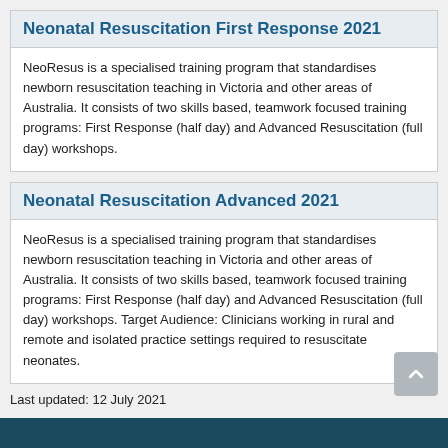Neonatal Resuscitation First Response 2021
NeoResus is a specialised training program that standardises newborn resuscitation teaching in Victoria and other areas of Australia. It consists of two skills based, teamwork focused training programs: First Response (half day) and Advanced Resuscitation (full day) workshops.
Neonatal Resuscitation Advanced 2021
NeoResus is a specialised training program that standardises newborn resuscitation teaching in Victoria and other areas of Australia. It consists of two skills based, teamwork focused training programs: First Response (half day) and Advanced Resuscitation (full day) workshops. Target Audience: Clinicians working in rural and remote and isolated practice settings required to resuscitate neonates.
Last updated: 12 July 2021